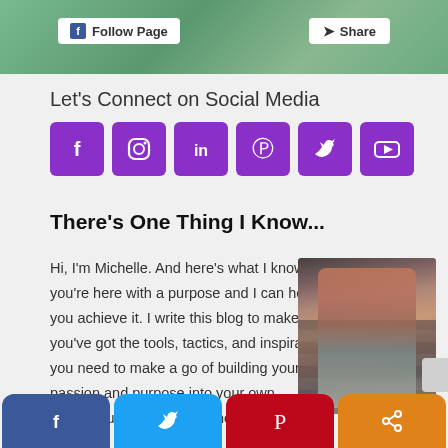[Figure (photo): Top portion of a Facebook page screenshot showing a header image with Follow Page and Share buttons]
Let's Connect on Social Media
[Figure (infographic): Six purple rounded-square social media icons: Facebook, Instagram, LinkedIn, Pinterest, Twitter, YouTube]
There's One Thing I Know...
Hi, I'm Michelle. And here's what I know: you're here with a purpose and I can help you achieve it. I write this blog to make sure you've got the tools, tactics, and inspiration you need to make a go of building your passion and purpose into your own successful, profitable business. So, welcom
[Figure (photo): Portrait photo of Michelle, a woman with red hair and glasses sitting on steps]
[Figure (infographic): Bottom share bar with four buttons: Facebook (blue), Twitter (light blue), Pinterest (red), Share (orange)]